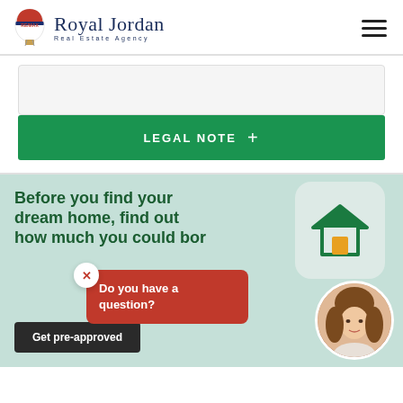[Figure (logo): RE/MAX hot air balloon logo with Royal Jordan Real Estate Agency text]
[Figure (illustration): Hamburger menu icon (three horizontal lines)]
[Figure (other): Light grey box placeholder above Legal Note button]
LEGAL NOTE +
Before you find your dream home, find out how much you could borrow
[Figure (illustration): House icon on rounded card]
[Figure (illustration): Red chat popup with X close button: Do you have a question?]
[Figure (photo): Agent portrait photo circular]
Get pre-approved